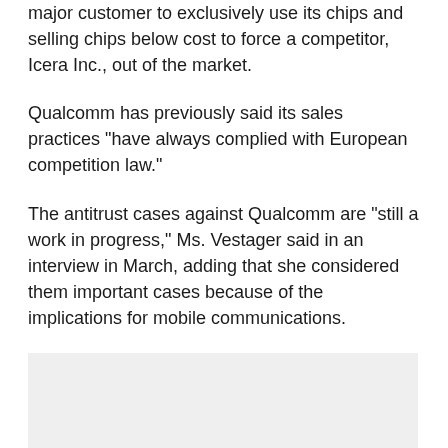major customer to exclusively use its chips and selling chips below cost to force a competitor, Icera Inc., out of the market.
Qualcomm has previously said its sales practices "have always complied with European competition law."
The antitrust cases against Qualcomm are "still a work in progress," Ms. Vestager said in an interview in March, adding that she considered them important cases because of the implications for mobile communications.
[Figure (photo): Gray placeholder image block]
Qualcomm, based in San Diego, is the largest supplier of chips for mobile devices, including baseband chips that provide cellular connections and processors that run...